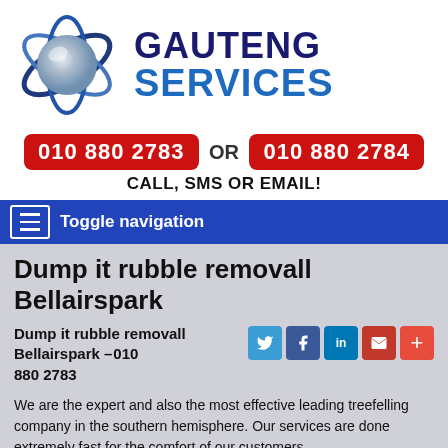[Figure (logo): Gauteng Services logo: globe with blue swirling orbit lines and text GAUTENG SERVICES]
010 880 2783 OR 010 880 2784
CALL, SMS OR EMAIL!
Toggle navigation
Dump it rubble removall Bellairspark
Dump it rubble removall Bellairspark – 010 880 2783
We are the expert and also the most effective leading treefelling company in the southern hemisphere. Our services are done extremely fast for the comfort of our customers.
Do not give yourself the hassle of risking the use of terrible contractors; our call centre agents will happily link you with a reputable treefelling